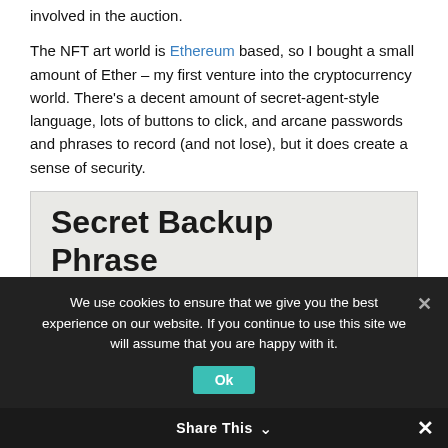involved in the auction.

The NFT art world is Ethereum based, so I bought a small amount of Ether – my first venture into the cryptocurrency world. There's a decent amount of secret-agent-style language, lots of buttons to click, and arcane passwords and phrases to record (and not lose), but it does create a sense of security.
[Figure (screenshot): Screenshot of a crypto wallet interface showing 'Secret Backup Phrase' heading, text 'Your secret backup phrase makes it easy to back up and restore your account.', and a partially visible WARNING text.]
We use cookies to ensure that we give you the best experience on our website. If you continue to use this site we will assume that you are happy with it.
Share This